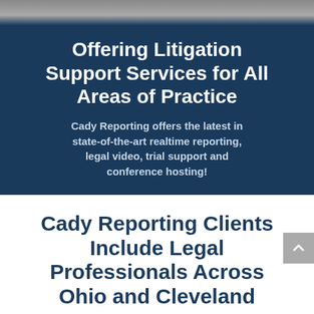[Figure (photo): Blurred background photo strip at the top of the page]
Offering Litigation Support Services for All Areas of Practice
Cady Reporting offers the latest in state-of-the-art realtime reporting, legal video, trial support and conference hosting!
Cady Reporting Clients Include Legal Professionals Across Ohio and Cleveland
What makes realtime reporting different from other forms of court reporting? It's in the name: the